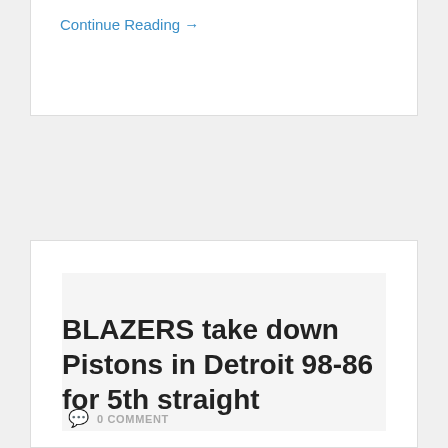Continue Reading →
BLAZERS take down Pistons in Detroit 98-86 for 5th straight
0 COMMENT